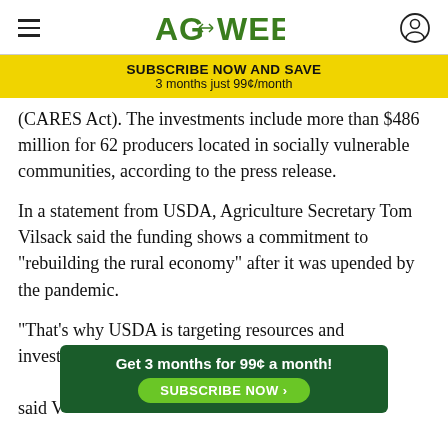AGWEEK
SUBSCRIBE NOW AND SAVE
3 months just 99¢/month
(CARES Act). The investments include more than $486 million for 62 producers located in socially vulnerable communities, according to the press release.
In a statement from USDA, Agriculture Secretary Tom Vilsack said the funding shows a commitment to "rebuilding the rural economy" after it was upended by the pandemic.
“That’s why USDA is targeting resources and investments to improve the strength and resilience of the rural food system and markets,” said V[ilsack].
Get 3 months for 99¢ a month!
SUBSCRIBE NOW ›